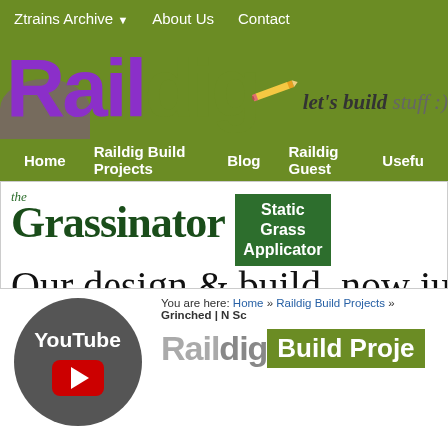Ztrains Archive ▼   About Us   Contact
[Figure (logo): Raildig logo with purple 'Rail' and olive green 'dig' text, pencil graphic, tagline 'let's build stuff :)']
Home   Raildig Build Projects   Blog   Raildig Guest   Useful
[Figure (infographic): The Grassinator Static Grass Applicator advertisement banner. Text: 'the Grassinator' and 'Static Grass Applicator' badge and 'Our design & build, now just $89']
[Figure (logo): YouTube logo circle - dark gray circle with YouTube text and red play button icon]
You are here: Home » Raildig Build Projects » Grinched | N Sc
Raildig Build Proje